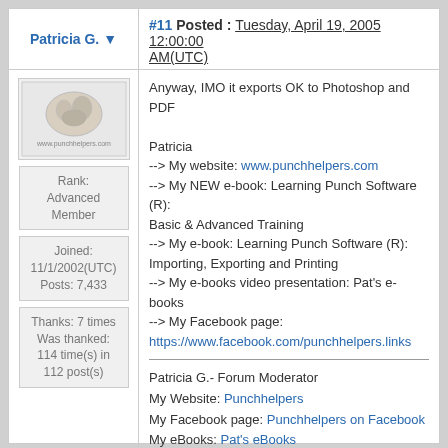Patricia G. ▾
#11 Posted : Tuesday, April 19, 2005 12:00:00 AM(UTC)
[Figure (photo): Avatar image showing a small illustration with text 'www.punchhelpers.com']
Rank: Advanced Member
Joined: 11/1/2002(UTC)
Posts: 7,433
Thanks: 7 times
Was thanked: 114 time(s) in 112 post(s)
Anyway, IMO it exports OK to Photoshop and PDF

Patricia
--> My website: www.punchhelpers.com
--> My NEW e-book: Learning Punch Software (R): Basic & Advanced Training
--> My e-book: Learning Punch Software (R): Importing, Exporting and Printing
--> My e-books video presentation: Pat's e-books
--> My Facebook page: https://www.facebook.com/punchhelpers.links
Patricia G.- Forum Moderator
My Website: Punchhelpers
My Facebook page: Punchhelpers on Facebook
My eBooks: Pat's eBooks
My Store: Punchhelpers Store